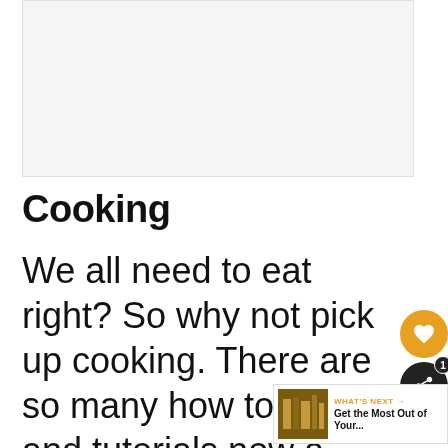[Figure (photo): Placeholder image area, light gray background]
Cooking
We all need to eat right? So why not pick up cooking. There are so many how to videos and tutorials now a days it makes cooking so fun and creative. If you look at cooking as a hobby rather than a chore it opens up the door to so